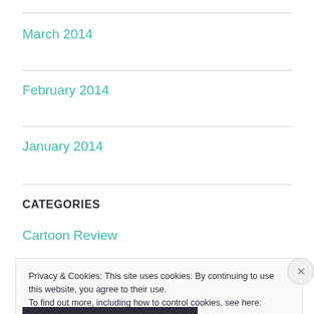March 2014
February 2014
January 2014
CATEGORIES
Cartoon Review
Privacy & Cookies: This site uses cookies. By continuing to use this website, you agree to their use.
To find out more, including how to control cookies, see here: Cookie Policy
Close and accept